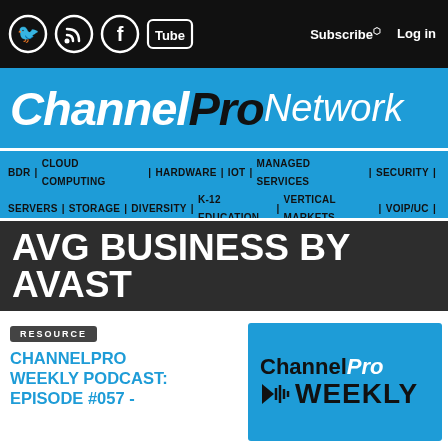ChannelPro Network — Subscribe | Log in
ChannelPro Network
BDR | CLOUD COMPUTING | HARDWARE | IOT | MANAGED SERVICES | SECURITY | SERVERS | STORAGE | DIVERSITY | K-12 EDUCATION | VERTICAL MARKETS | VOIP/UC | GROW YOUR BUSINESS | ALL >>
AVG BUSINESS BY AVAST
RESOURCE
CHANNELPRO WEEKLY PODCAST: EPISODE #057 -
[Figure (logo): ChannelPro Weekly podcast logo — blue background with 'Channel Pro WEEKLY' text and speaker icon]